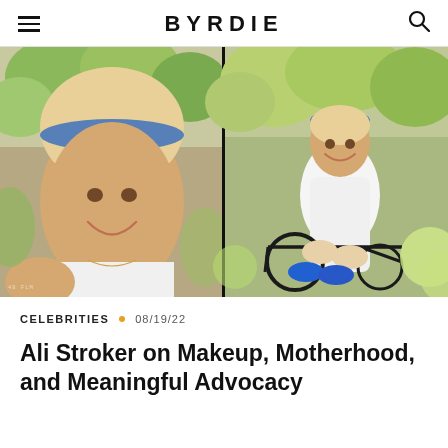BYRDIE
[Figure (photo): Two side-by-side film photographs of Ali Stroker: left is a selfie close-up of a smiling blonde woman wearing a white tank top and blue headband with yellow-green flowers in background; right shows the same woman seated in a wheelchair wearing a white outfit and blue sneakers, surrounded by yellow-green hydrangea flowers outdoors.]
CELEBRITIES • 08/19/22
Ali Stroker on Makeup, Motherhood, and Meaningful Advocacy